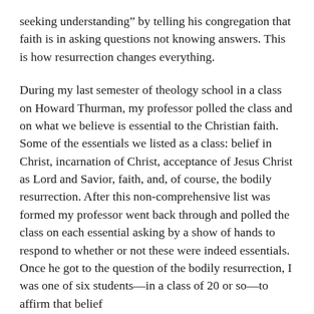seeking understanding” by telling his congregation that faith is in asking questions not knowing answers. This is how resurrection changes everything.
During my last semester of theology school in a class on Howard Thurman, my professor polled the class and on what we believe is essential to the Christian faith. Some of the essentials we listed as a class: belief in Christ, incarnation of Christ, acceptance of Jesus Christ as Lord and Savior, faith, and, of course, the bodily resurrection. After this non-comprehensive list was formed my professor went back through and polled the class on each essential asking by a show of hands to respond to whether or not these were indeed essentials. Once he got to the question of the bodily resurrection, I was one of six students—in a class of 20 or so—to affirm that belief